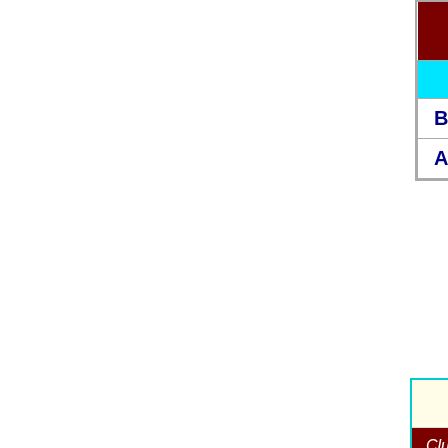| Type | P | W | D | L |
| --- | --- | --- | --- | --- |
| BC | 4 | 2 | 2 | 0 |
| All | 4 | 2 | 2 | 0 |
Graham
Club: Tottenham Hotspur F.C. - 6 full appearances
| # | Cap | Match |
| --- | --- | --- |
| Age 23 |  |  |
| 1 | 577 | 28 May 1983 - Northern Ireland 0... |
| 2 | 578 | 1 June 1983 - England 2 Scotla... |
| Age 24 |  |  |
| - | 583 | 12 October 1983 - Hungary 0 E... |
| 3 | 585 | 29 February 1984 - France 2 En... |
| 4 | 586 | 4 April 1984 - England 1 Northern I... |
| 5 | 588 | 30 May 1984 - Scotland 1 E... |